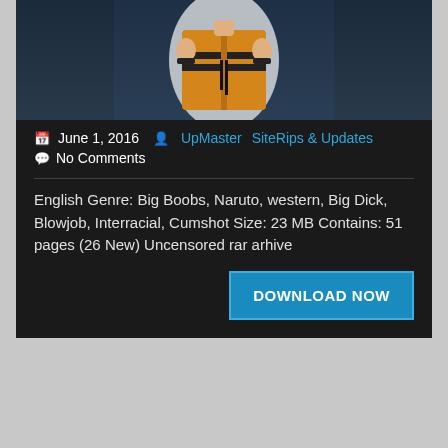[Figure (illustration): Partial view of an anime-style character wearing an orange and black jacket, shown from the torso up against a dark blue-gray background]
June 1, 2016  UpMaster  SiteRips & Updates
No Comments
English Genre: Big Boobs, Naruto, western, Big Dick, Blowjob, Interracial, Cumshot Size: 23 MB Contains: 51 pages (26 New) Uncensored rar arhive
DOWNLOAD NOW